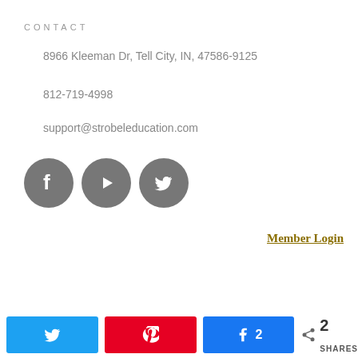CONTACT
8966 Kleeman Dr, Tell City, IN, 47586-9125
812-719-4998
support@strobeleducation.com
[Figure (illustration): Three circular social media icons: Facebook (f), YouTube (play button), Twitter (bird), all in dark gray]
Member Login
Copyright 2022 Strobel Education, all rights reserved.
[Figure (infographic): Share bar with Twitter button, Pinterest button, Facebook button showing count 2, and total shares count of 2]